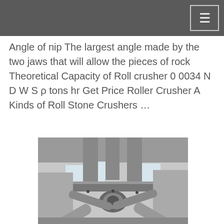Angle of nip The largest angle made by the two jaws that will allow the pieces of rock Theoretical Capacity of Roll crusher 0 0034 N D W S ρ tons hr Get Price Roller Crusher A Kinds of Roll Stone Crushers …
[Figure (photo): Industrial roller crusher machinery photographed inside a factory/warehouse, showing large cylindrical grey metal pipes and mechanical components, viewed from below looking up toward the ceiling with industrial windows visible in the background.]